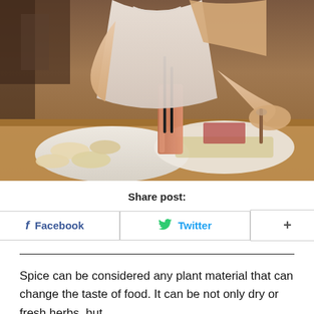[Figure (photo): A woman in a white off-shoulder top sitting at a restaurant table with food, a drink with straws, and cutlery in hand.]
Share post:
Facebook  Twitter  +
Spice can be considered any plant material that can change the taste of food. It can be not only dry or fresh herbs, but